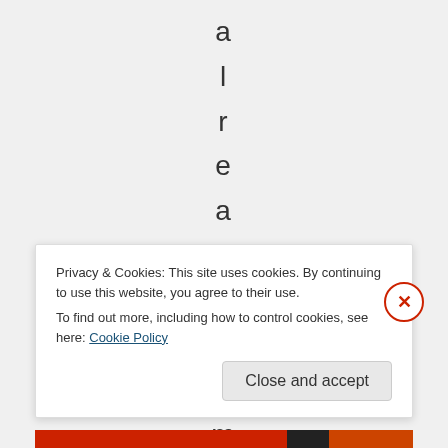a l r e a d y a d m i
Privacy & Cookies: This site uses cookies. By continuing to use this website, you agree to their use.
To find out more, including how to control cookies, see here: Cookie Policy
Close and accept